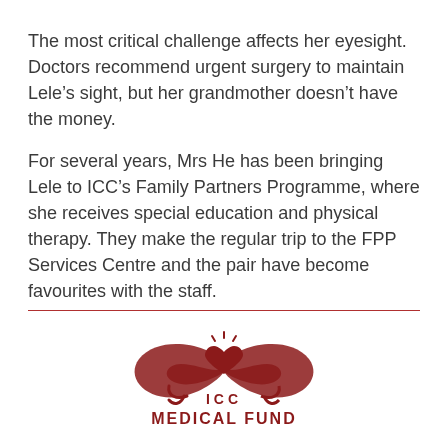The most critical challenge affects her eyesight. Doctors recommend urgent surgery to maintain Lele’s sight, but her grandmother doesn’t have the money.
For several years, Mrs He has been bringing Lele to ICC’s Family Partners Programme, where she receives special education and physical therapy. They make the regular trip to the FPP Services Centre and the pair have become favourites with the staff.
[Figure (logo): ICC Medical Fund logo: decorative swirl wings with a heart, text ICC MEDICAL FUND in dark red]